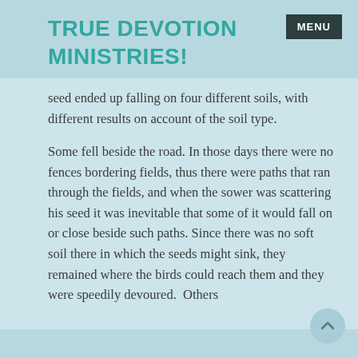TRUE DEVOTION MINISTRIES!
seed ended up falling on four different soils, with different results on account of the soil type.
Some fell beside the road. In those days there were no fences bordering fields, thus there were paths that ran through the fields, and when the sower was scattering his seed it was inevitable that some of it would fall on or close beside such paths. Since there was no soft soil there in which the seeds might sink, they remained where the birds could reach them and they were speedily devoured.  Others